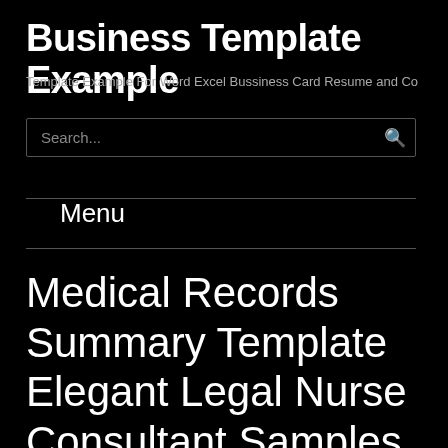Business Template Example
Template Example For Word Excel Bussiness Card Resume and Co
Search...
Menu
Medical Records Summary Template Elegant Legal Nurse Consultant Samples Prime Litigation Support